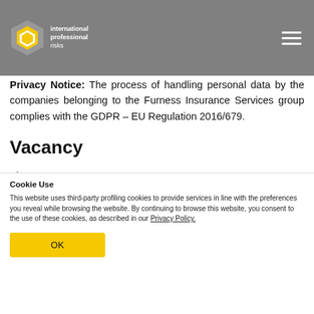AND ONLY IF YOU HAVE COMPLETED COMPULSORY UNIVERSITY STUDIES.
[Figure (logo): International Professional Risks logo: hexagon shape with yellow diamond, text 'international professional risks']
Privacy Notice: The process of handling personal data by the companies belonging to the Furness Insurance Services group complies with the GDPR – EU Regulation 2016/679.
Vacancy
First name *
Cookie Use
This website uses third-party profiling cookies to provide services in line with the preferences you reveal while browsing the website. By continuing to browse this website, you consent to the use of these cookies, as described in our Privacy Policy.